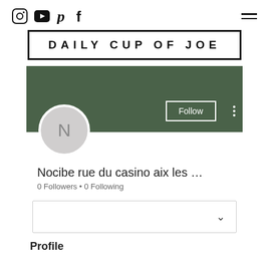Social icons: Instagram, YouTube, Pinterest, Facebook · Hamburger menu
DAILY CUP OF JOE
[Figure (screenshot): Green banner profile header with Follow button and three-dot menu]
Nocibe rue du casino aix les …
0 Followers • 0 Following
[Figure (screenshot): Dropdown selector box with chevron]
Profile